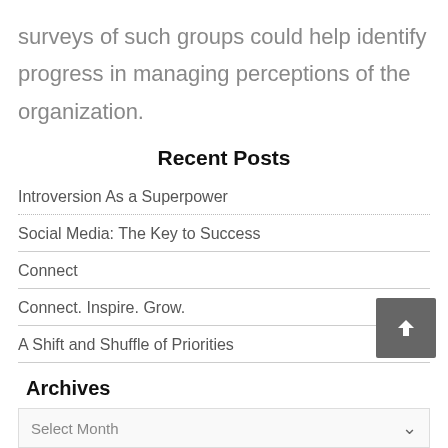surveys of such groups could help identify progress in managing perceptions of the organization.
Recent Posts
Introversion As a Superpower
Social Media: The Key to Success
Connect
Connect. Inspire. Grow.
A Shift and Shuffle of Priorities
Archives
Select Month